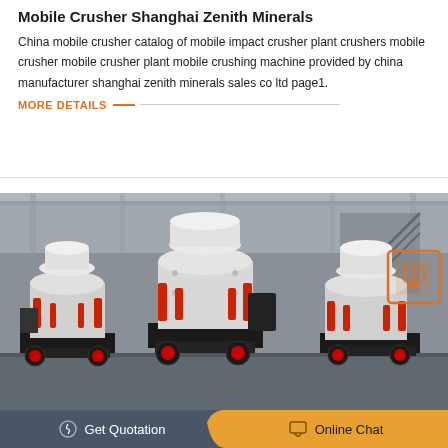Mobile Crusher Shanghai Zenith Minerals
China mobile crusher catalog of mobile impact crusher plant crushers mobile crusher mobile crusher plant mobile crushing machine provided by china manufacturer shanghai zenith minerals sales co ltd page1.
MORE DETAILS
[Figure (photo): Industrial cone crusher machines in a factory/warehouse setting. Multiple large white and red cone crushers with hydraulic components on black steel frames, photographed indoors.]
Get Quotation
Online Chat